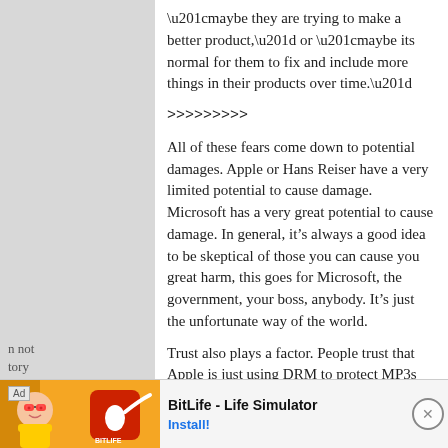“maybe they are trying to make a better product,” or “maybe its normal for them to fix and include more things in their products over time.”
>>>>>>>>>
All of these fears come down to potential damages. Apple or Hans Reiser have a very limited potential to cause damage. Microsoft has a very great potential to cause damage. In general, it’s always a good idea to be skeptical of those you can cause you great harm, this goes for Microsoft, the government, your boss, anybody. It’s just the unfortunate way of the world.
Trust also plays a factor. People trust that Apple is just using DRM to protect MP3s distributed on applemusic.com, because
[Figure (other): Advertisement banner for BitLife - Life Simulator app with character illustration, orange/red background, and Install button]